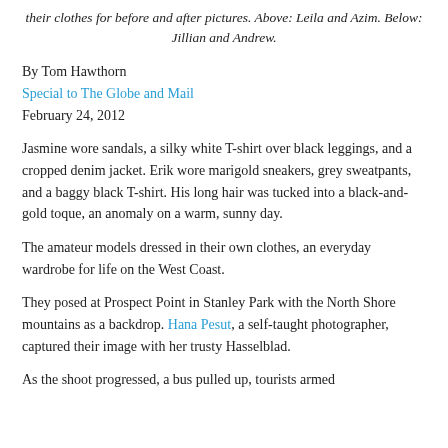their clothes for before and after pictures. Above: Leila and Azim. Below: Jillian and Andrew.
By Tom Hawthorn
Special to The Globe and Mail
February 24, 2012
Jasmine wore sandals, a silky white T-shirt over black leggings, and a cropped denim jacket. Erik wore marigold sneakers, grey sweatpants, and a baggy black T-shirt. His long hair was tucked into a black-and-gold toque, an anomaly on a warm, sunny day.
The amateur models dressed in their own clothes, an everyday wardrobe for life on the West Coast.
They posed at Prospect Point in Stanley Park with the North Shore mountains as a backdrop. Hana Pesut, a self-taught photographer, captured their image with her trusty Hasselblad.
As the shoot progressed, a bus pulled up, tourists armed